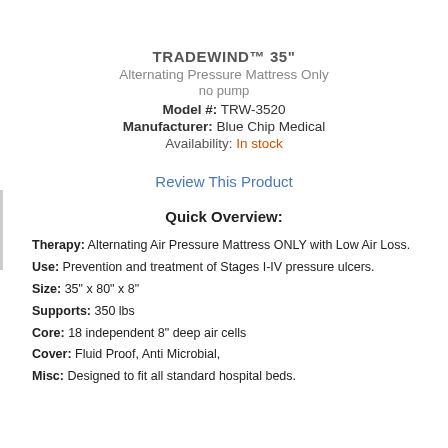TRADEWIND™ 35"
Alternating Pressure Mattress Only
no pump
Model #: TRW-3520
Manufacturer: Blue Chip Medical
Availability: In stock
Review This Product
Quick Overview:
Therapy: Alternating Air Pressure Mattress ONLY with Low Air Loss.
Use: Prevention and treatment of Stages I-IV pressure ulcers.
Size: 35" x 80" x 8"
Supports: 350 lbs
Core: 18 independent 8" deep air cells
Cover: Fluid Proof, Anti Microbial,
Misc: Designed to fit all standard hospital beds.